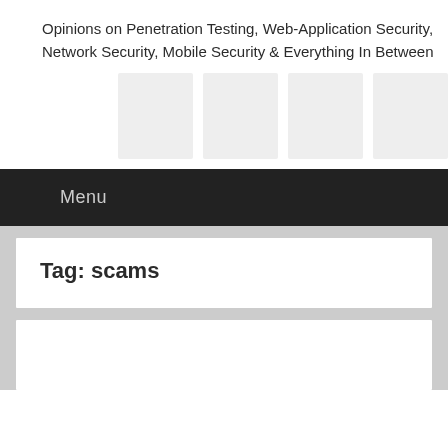Opinions on Penetration Testing, Web-Application Security, Network Security, Mobile Security & Everything In Between
[Figure (other): Four gray placeholder icon boxes in a row]
Menu
Tag: scams